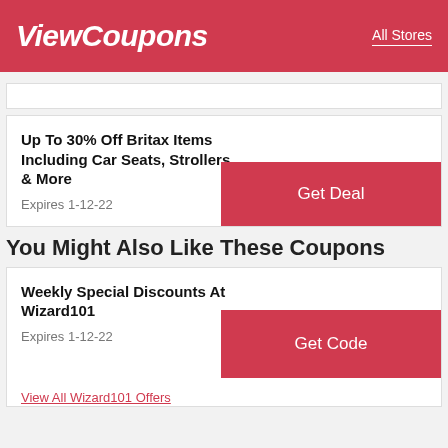ViewCoupons   All Stores
Up To 30% Off Britax Items Including Car Seats, Strollers & More
Expires 1-12-22
Get Deal
You Might Also Like These Coupons
Weekly Special Discounts At Wizard101
Expires 1-12-22
Get Code
View All Wizard101 Offers